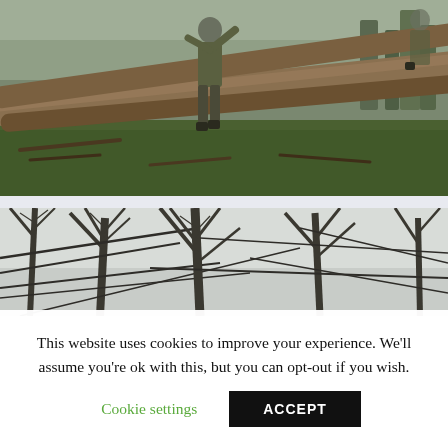[Figure (photo): Outdoor forest scene with workers handling large felled logs on green grass in misty conditions. One person visible in camouflage gear walking near logs.]
[Figure (photo): Dense bare winter trees with thin branches against a pale grey misty sky, viewed from below.]
This website uses cookies to improve your experience. We'll assume you're ok with this, but you can opt-out if you wish.
Cookie settings
ACCEPT